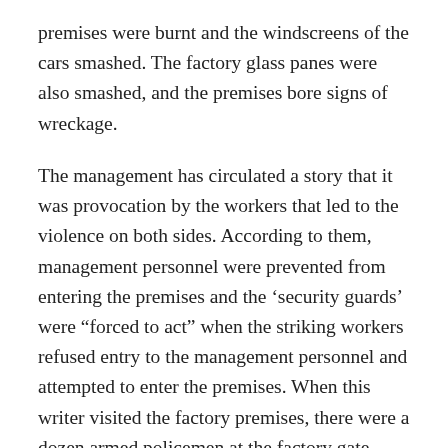premises were burnt and the windscreens of the cars smashed. The factory glass panes were also smashed, and the premises bore signs of wreckage.
The management has circulated a story that it was provocation by the workers that led to the violence on both sides. According to them, management personnel were prevented from entering the premises and the ‘security guards’ were “forced to act” when the striking workers refused entry to the management personnel and attempted to enter the premises. When this writer visited the factory premises, there were a dozen armed policemen at the factory gate. According to some workers from the neighbouring concerns, the management was responsible for the destruction of the vehicles parked outside the factory, which they had caused in an attempt to rest the blame